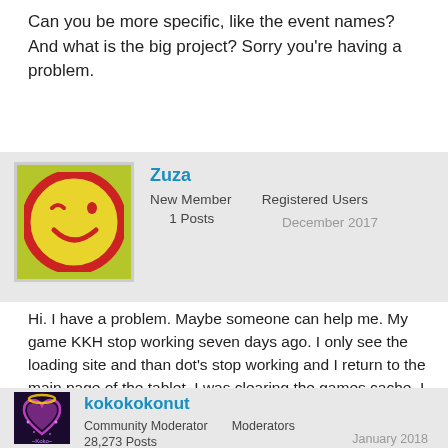Can you be more specific, like the event names? And what is the big project? Sorry you're having a problem.
Zuza
New Member    Registered Users
1 Posts    December 2017
Hi. I have a problem. Maybe someone can help me. My game KKH stop working seven days ago. I only see the loading site and than dot's stop working and I return to the main page of the tablet. I was clearing the games cache. I have access to wi-fi networks. I've been playing more than year . My tablet is Lenovo tab2 a8-50. Android 5.0.2 What can I do?
kokokokonut
Community Moderator    Moderators
28,273 Posts    January 2018